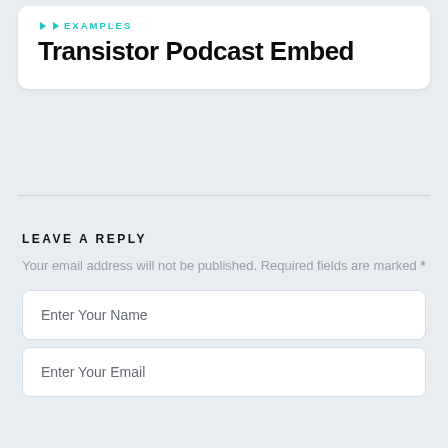EXAMPLES
Transistor Podcast Embed
LEAVE A REPLY
Your email address will not be published. Required fields are marked *
Enter Your Name
Enter Your Email